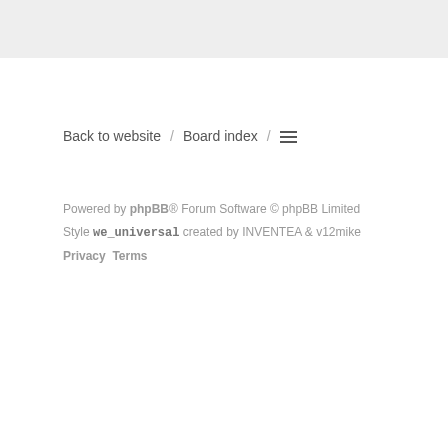[Figure (screenshot): Top gray bar area from a forum page]
Back to website / Board index / ☰
Powered by phpBB® Forum Software © phpBB Limited
Style we_universal created by INVENTEA & v12mike
Privacy Terms
Dark footer area with social icons (Twitter, Facebook, YouTube), Switch style text, British flag icon, and a blue scroll-to-top button with up arrow